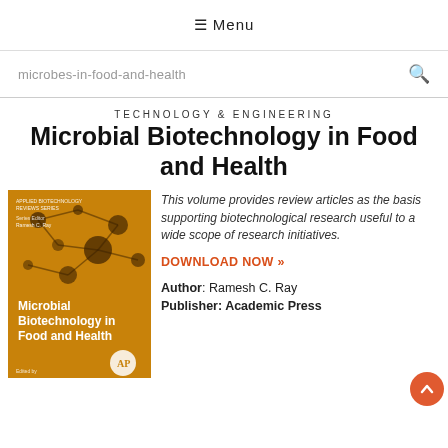≡ Menu
microbes-in-food-and-health
TECHNOLOGY & ENGINEERING
Microbial Biotechnology in Food and Health
[Figure (illustration): Book cover of Microbial Biotechnology in Food and Health, orange background with molecular network graphic]
This volume provides review articles as the basis supporting biotechnological research useful to a wide scope of research initiatives.
DOWNLOAD NOW »
Author: Ramesh C. Ray
Publisher: Academic Press